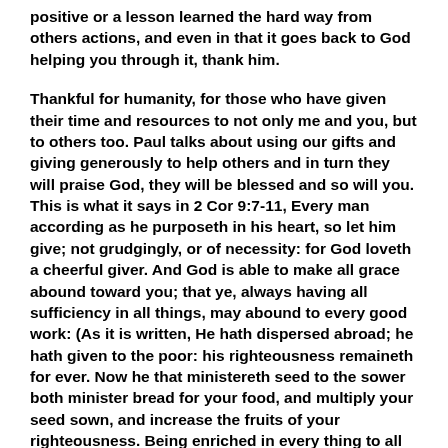positive or a lesson learned the hard way from others actions, and even in that it goes back to God helping you through it, thank him.
Thankful for humanity, for those who have given their time and resources to not only me and you, but to others too. Paul talks about using our gifts and giving generously to help others and in turn they will praise God, they will be blessed and so will you. This is what it says in 2 Cor 9:7-11, Every man according as he purposeth in his heart, so let him give; not grudgingly, or of necessity: for God loveth a cheerful giver. And God is able to make all grace abound toward you; that ye, always having all sufficiency in all things, may abound to every good work: (As it is written, He hath dispersed abroad; he hath given to the poor: his righteousness remaineth for ever. Now he that ministereth seed to the sower both minister bread for your food, and multiply your seed sown, and increase the fruits of your righteousness. Being enriched in every thing to all bountifulness, which causeth through us thanksgiving to God.
Now think on the simple things like the weather, we love the warm and sunny days, but when it rains, snows and